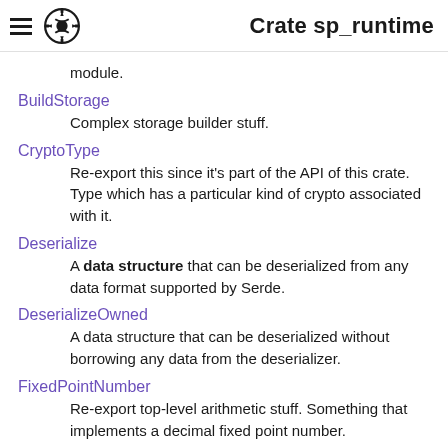Crate sp_runtime
module.
BuildStorage
Complex storage builder stuff.
CryptoType
Re-export this since it's part of the API of this crate. Type which has a particular kind of crypto associated with it.
Deserialize
A data structure that can be deserialized from any data format supported by Serde.
DeserializeOwned
A data structure that can be deserialized without borrowing any data from the deserializer.
FixedPointNumber
Re-export top-level arithmetic stuff. Something that implements a decimal fixed point number.
FixedPointOperand